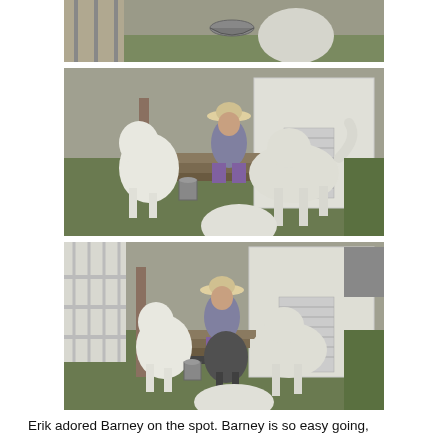[Figure (photo): Partial photo at top of page showing a metal bowl and a rounded light-colored object, likely a dog, on grass.]
[Figure (photo): Photo of a man in a cowboy hat sitting on steps outside a white building, surrounded by several large white standard poodles on grass.]
[Figure (photo): Second photo of the same man in a cowboy hat sitting on steps with multiple large white standard poodles gathered around him outside a white building.]
Erik adored Barney on the spot. Barney is so easy going,